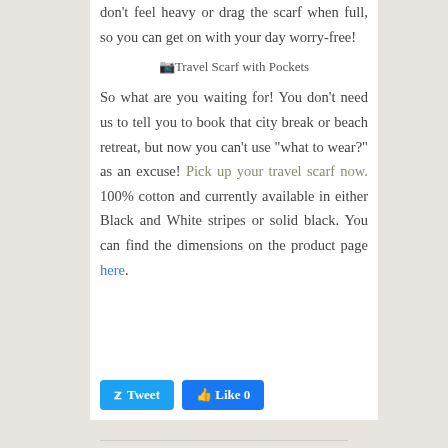don't feel heavy or drag the scarf when full, so you can get on with your day worry-free!
[Figure (photo): Broken image placeholder for Travel Scarf with Pockets]
So what are you waiting for! You don't need us to tell you to book that city break or beach retreat, but now you can't use "what to wear?" as an excuse! Pick up your travel scarf now. 100% cotton and currently available in either Black and White stripes or solid black. You can find the dimensions on the product page here.